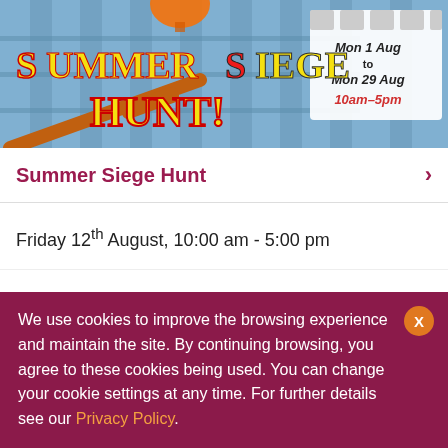[Figure (illustration): Summer Siege Hunt banner image with cartoon castle background, colourful title text reading 'Summer Siege Hunt!' in yellow and red, and a sign reading 'Mon 1 Aug to Mon 29 Aug 10am–5pm']
Summer Siege Hunt
Friday 12th August, 10:00 am - 5:00 pm
Bosworth is under siege and we need your help defending it! Can you help us to  find the items needed to repel the attackers from around our site?
We use cookies to improve the browsing experience and maintain the site. By continuing browsing, you agree to these cookies being used. You can change your cookie settings at any time. For further details see our Privacy Policy.